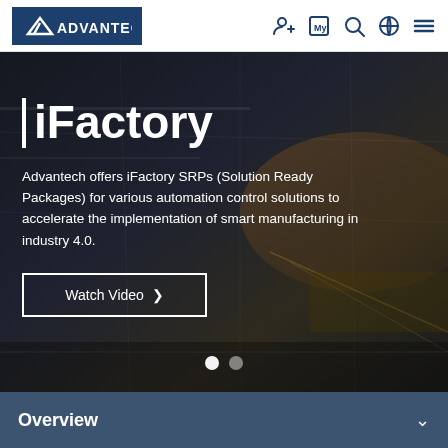[Figure (logo): Advantech logo — white text on dark navy blue background]
[Figure (screenshot): Factory automation background photo showing industrial equipment and conveyor systems with dark overlay]
iFactory
Advantech offers iFactory SRPs (Solution Ready Packages) for various automation control solutions to accelerate the implementation of smart manufacturing in industry 4.0.
Watch Video ›
Overview